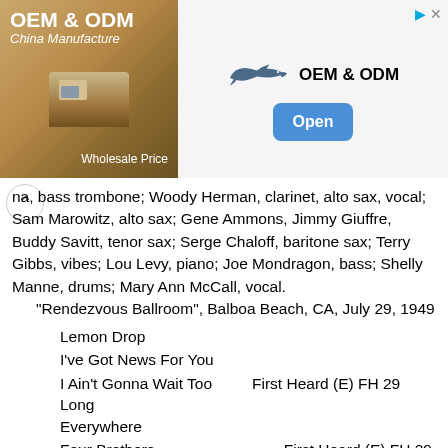[Figure (other): Advertisement banner for OEM & ODM China Manufacture at Wholesale Price, featuring a shark logo and an Open button]
na, bass trombone; Woody Herman, clarinet, alto sax, vocal; Sam Marowitz, alto sax; Gene Ammons, Jimmy Giuffre, Buddy Savitt, tenor sax; Serge Chaloff, baritone sax; Terry Gibbs, vibes; Lou Levy, piano; Joe Mondragon, bass; Shelly Manne, drums; Mary Ann McCall, vocal.
"Rendezvous Ballroom", Balboa Beach, CA, July 29, 1949
Lemon Drop
I've Got News For You
I Ain't Gonna Wait Too Long    First Heard (E) FH 29
Everywhere
Four Brothers    First Heard (E) FH 29
Keen And Peachy
I Got It Bad And That Ain't Good